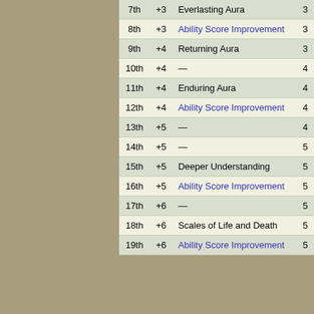| Level | Prof. Bonus | Features | Auras |
| --- | --- | --- | --- |
| 7th | +3 | Everlasting Aura | 3 |
| 8th | +3 | Ability Score Improvement | 3 |
| 9th | +4 | Returning Aura | 3 |
| 10th | +4 | — | 4 |
| 11th | +4 | Enduring Aura | 4 |
| 12th | +4 | Ability Score Improvement | 4 |
| 13th | +5 | — | 4 |
| 14th | +5 | — | 5 |
| 15th | +5 | Deeper Understanding | 5 |
| 16th | +5 | Ability Score Improvement | 5 |
| 17th | +6 | — | 5 |
| 18th | +6 | Scales of Life and Death | 5 |
| 19th | +6 | Ability Score Improvement | 5 |